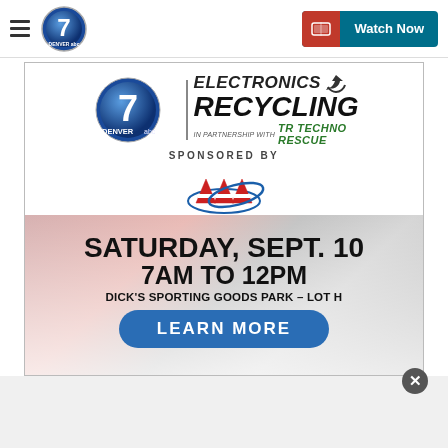Denver7 ABC navigation bar with hamburger menu and Watch Now button
[Figure (infographic): Denver7 ABC Electronics Recycling event advertisement. Sponsored by AAA. Saturday, Sept. 10, 7AM to 12PM, Dick's Sporting Goods Park - Lot H. In partnership with Techno Rescue. Learn More button.]
ELECTRONICS RECYCLING IN PARTNERSHIP WITH TECHNO RESCUE
SPONSORED BY
SATURDAY, SEPT. 10
7AM TO 12PM
DICK'S SPORTING GOODS PARK – LOT H
LEARN MORE